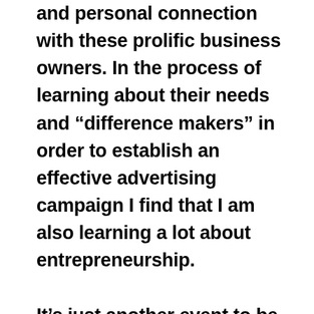and personal connection with these prolific business owners. In the process of learning about their needs and “difference makers” in order to establish an effective advertising campaign I find that I am also learning a lot about entrepreneurship.

It’s just another event to be in a room with former coach Norm Stewart and Mayor Brian Treece, listening to the movers and shakers in our community jest back and forth. Our products allow us to connect people in our community and foster growth. We get to meet the movers and shakers of businesses and the worker bees. From the owners of Lobgoat to the administrative staff